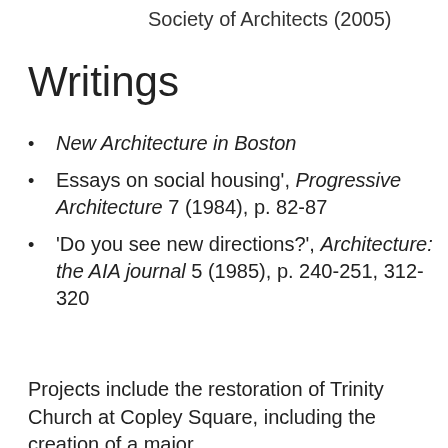Society of Architects (2005)
Writings
New Architecture in Boston
Essays on social housing', Progressive Architecture 7 (1984), p. 82-87
'Do you see new directions?', Architecture: the AIA journal 5 (1985), p. 240-251, 312-320
Projects include the restoration of Trinity Church at Copley Square, including the creation of a major